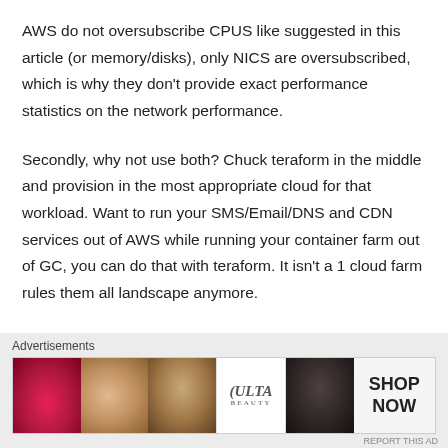AWS do not oversubscribe CPUS like suggested in this article (or memory/disks), only NICS are oversubscribed, which is why they don't provide exact performance statistics on the network performance.
Secondly, why not use both? Chuck teraform in the middle and provision in the most appropriate cloud for that workload. Want to run your SMS/Email/DNS and CDN services out of AWS while running your container farm out of GC, you can do that with teraform. It isn't a 1 cloud farm rules them all landscape anymore.
Advertisements
[Figure (illustration): Advertisement banner for Ulta Beauty showing makeup imagery (lips, brush, eye, Ulta logo, eyes, Shop Now button)]